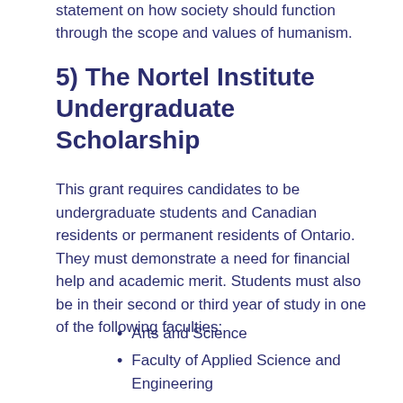statement on how society should function through the scope and values of humanism.
5) The Nortel Institute Undergraduate Scholarship
This grant requires candidates to be undergraduate students and Canadian residents or permanent residents of Ontario. They must demonstrate a need for financial help and academic merit. Students must also be in their second or third year of study in one of the following faculties:
Arts and Science
Faculty of Applied Science and Engineering
The University of Toronto